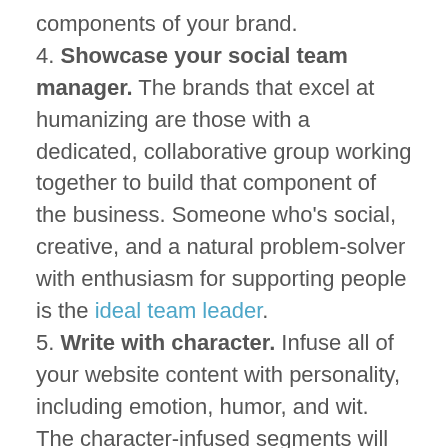components of your brand.
4. Showcase your social team manager. The brands that excel at humanizing are those with a dedicated, collaborative group working together to build that component of the business. Someone who’s social, creative, and a natural problem-solver with enthusiasm for supporting people is the ideal team leader.
5. Write with character. Infuse all of your website content with personality, including emotion, humor, and wit. The character-infused segments will fluctuate depending on the writing style of your content contributors and that’s okay, because your brand doesn’t have to cling to one voice.
6. Send swag and welcome letters to new and loyal customers. It might not be possible to send something to each new client, but you